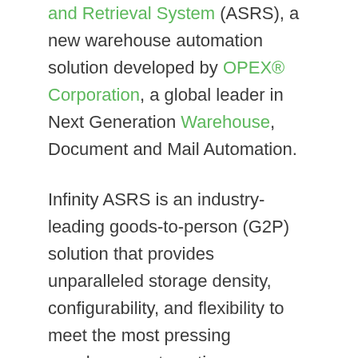and Retrieval System (ASRS), a new warehouse automation solution developed by OPEX® Corporation, a global leader in Next Generation Warehouse, Document and Mail Automation.

Infinity ASRS is an industry-leading goods-to-person (G2P) solution that provides unparalleled storage density, configurability, and flexibility to meet the most pressing warehouse automation challenges for companies handling micro-fulfillment, omni-channel distribution